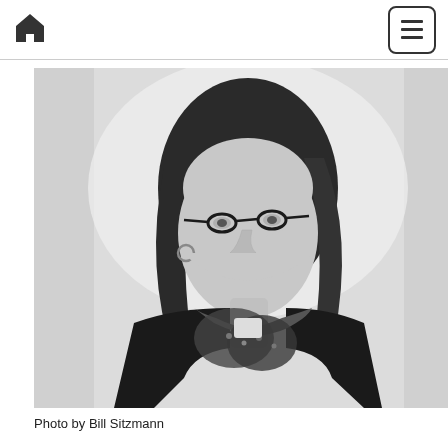Home | Menu
[Figure (photo): Black and white portrait photo of a woman with short dark hair, wearing glasses, hoop earrings, a patterned scarf, and a dark jacket, photographed against a light background.]
Photo by Bill Sitzmann